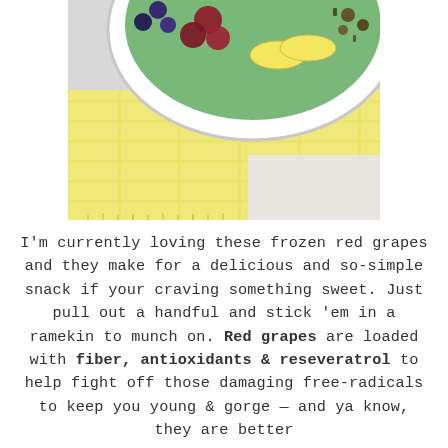[Figure (photo): Close-up photo of a white bowl containing a smoothie bowl topped with frozen red grapes, banana slices, blueberries, and other toppings, sitting on a yellow striped cloth/napkin on a white surface.]
I'm currently loving these frozen red grapes and they make for a delicious and so-simple snack if your craving something sweet. Just pull out a handful and stick 'em in a ramekin to munch on. Red grapes are loaded with fiber, antioxidants & reseveratrol to help fight off those damaging free-radicals to keep you young & gorge — and ya know, they are better